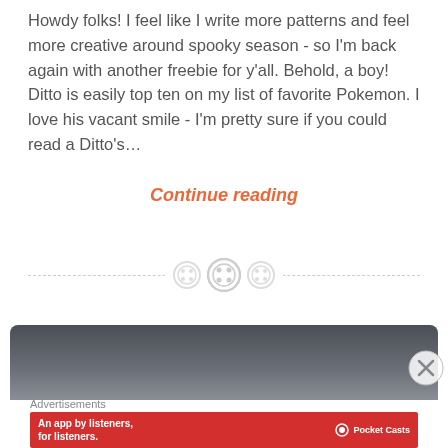Howdy folks! I feel like I write more patterns and feel more creative around spooky season - so I'm back again with another freebie for y'all. Behold, a boy! Ditto is easily top ten on my list of favorite Pokemon. I love his vacant smile - I'm pretty sure if you could read a Ditto's…
Continue reading
[Figure (illustration): Three circular sewing button icons arranged in a row, centered on a dashed horizontal divider line]
[Figure (photo): A dark grey device or object shown from above with curved edges, partially visible at bottom of content area]
Advertisements
[Figure (infographic): Pocket Casts advertisement banner: red background with white text 'An app by listeners, for listeners.' with a smartphone image and Pocket Casts logo]